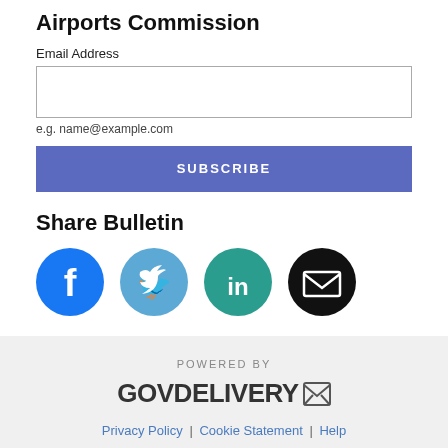Airports Commission
Email Address
e.g. name@example.com
SUBSCRIBE
Share Bulletin
[Figure (illustration): Social media share icons: Facebook (blue circle), Twitter (blue circle), LinkedIn (teal circle), Email (black circle)]
POWERED BY GOVDELIVERY | Privacy Policy | Cookie Statement | Help